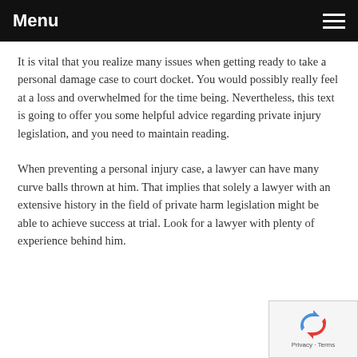Menu
It is vital that you realize many issues when getting ready to take a personal damage case to court docket. You would possibly really feel at a loss and overwhelmed for the time being. Nevertheless, this text is going to offer you some helpful advice regarding private injury legislation, and you need to maintain reading.
When preventing a personal injury case, a lawyer can have many curve balls thrown at him. That implies that solely a lawyer with an extensive history in the field of private harm legislation might be able to achieve success at trial. Look for a lawyer with plenty of experience behind him.
[Figure (other): reCAPTCHA privacy badge with recycling-style arrow icon, Privacy · Terms text]